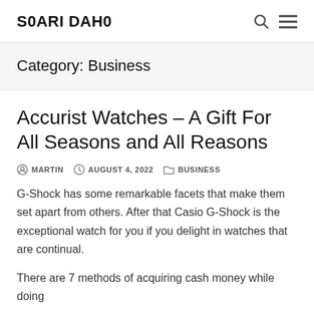S0ARI DAH0
Category: Business
Accurist Watches – A Gift For All Seasons and All Reasons
MARTIN  AUGUST 4, 2022  BUSINESS
G-Shock has some remarkable facets that make them set apart from others. After that Casio G-Shock is the exceptional watch for you if you delight in watches that are continual.
There are 7 methods of acquiring cash money while doing…